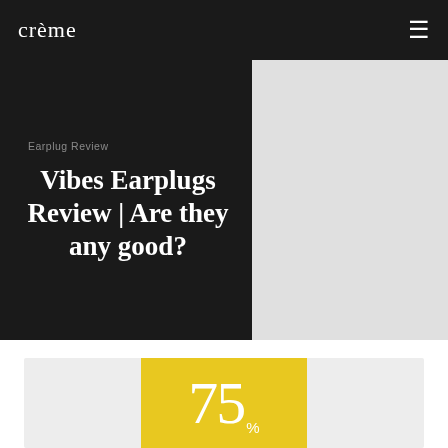crème
Earplug Review
Vibes Earplugs Review | Are they any good?
[Figure (other): Light grey placeholder image on the right side of the hero section]
75%